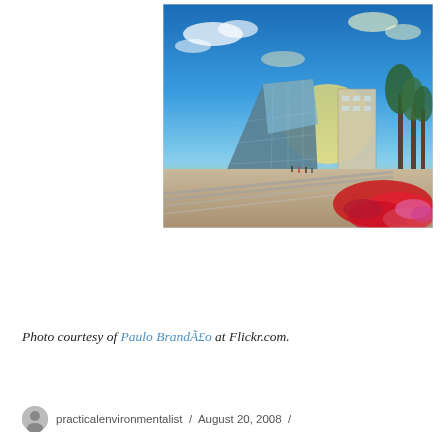[Figure (photo): HDR photograph of a modern urban plaza at sunset. Features angular glass buildings on the left, a tall tower in the center-right, a wide tiled walkway, trees on the right, and vivid red and pink flowers in the foreground right. Dramatic blue sky with clouds.]
Photo courtesy of Paulo BrandÃ£o at Flickr.com.
practicalenvironmentalist  /  August 20, 2008  /